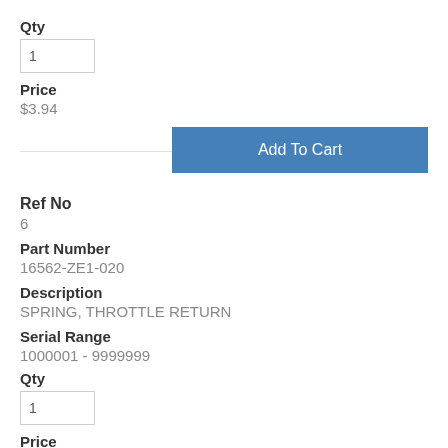Qty
1
Price
$3.94
Add To Cart
Ref No
6
Part Number
16562-ZE1-020
Description
SPRING, THROTTLE RETURN
Serial Range
1000001 - 9999999
Qty
1
Price
$3.06
Add To Cart